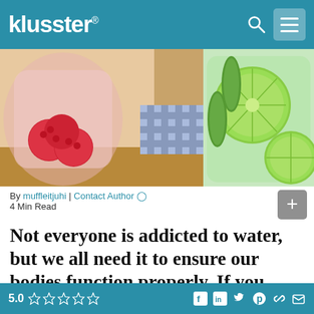klusster®
[Figure (photo): Photo of infused water drinks with raspberries, lime slices, and cucumber in glass pitchers/cups on a wooden table with a checkered cloth background]
By muffleitjuhi | Contact Author 4 Min Read
Not everyone is addicted to water, but we all need it to ensure our bodies function properly. If you want to drink more water, you can read below
Not everyone is addicted to water, but we all need it to...
5.0 ☆☆☆☆☆